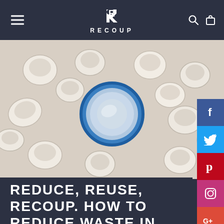RECOUP
[Figure (photo): Overhead view of many white paper cups scattered around a single reusable blue-rimmed cup with a metal ball in the center]
[Figure (infographic): Social media share buttons: Facebook, Twitter, Pinterest, Instagram, Google+]
REDUCE, REUSE, RECOUP. HOW TO REDUCE WASTE IN YOUR TRAINING ROO...